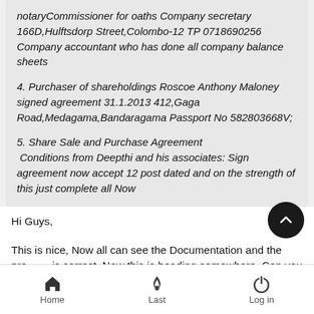notaryCommissioner for oaths Company secretary 166D,Hulftsdorp Street,Colombo-12 TP 0718690256 Company accountant who has done all company balance sheets
4. Purchaser of shareholdings Roscoe Anthony Maloney signed agreement 31.1.2013 412,Gaga Road,Medagama,Bandaragama Passport No 582803668V;
5. Share Sale and Purchase Agreement Conditions from Deepthi and his associates: Sign agreement now accept 12 post dated and on the strength of this just complete all Now
Hi Guys,
This is nice, Now all can see the Documentation and the pro is correct. Now this is heading somewhere. Can you see this was